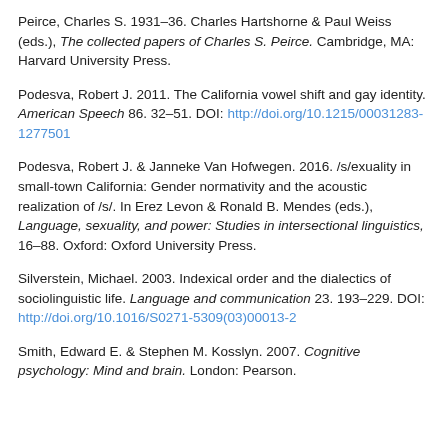Peirce, Charles S. 1931–36. Charles Hartshorne & Paul Weiss (eds.), The collected papers of Charles S. Peirce. Cambridge, MA: Harvard University Press.
Podesva, Robert J. 2011. The California vowel shift and gay identity. American Speech 86. 32–51. DOI: http://doi.org/10.1215/00031283-1277501
Podesva, Robert J. & Janneke Van Hofwegen. 2016. /s/exuality in small-town California: Gender normativity and the acoustic realization of /s/. In Erez Levon & Ronald B. Mendes (eds.), Language, sexuality, and power: Studies in intersectional linguistics, 16–88. Oxford: Oxford University Press.
Silverstein, Michael. 2003. Indexical order and the dialectics of sociolinguistic life. Language and communication 23. 193–229. DOI: http://doi.org/10.1016/S0271-5309(03)00013-2
Smith, Edward E. & Stephen M. Kosslyn. 2007. Cognitive psychology: Mind and brain. London: Pearson.